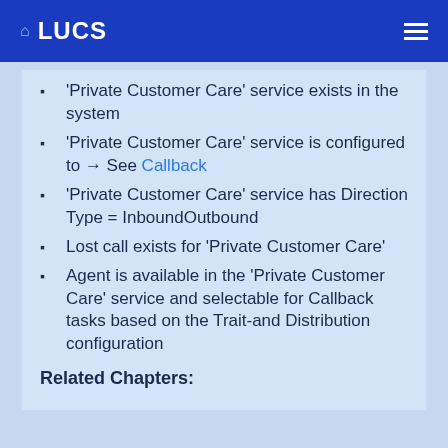LUCS
'Private Customer Care' service exists in the system
'Private Customer Care' service is configured to → See Callback
'Private Customer Care' service has Direction Type = InboundOutbound
Lost call exists for 'Private Customer Care'
Agent is available in the 'Private Customer Care' service and selectable for Callback tasks based on the Trait-and Distribution configuration
Related Chapters: